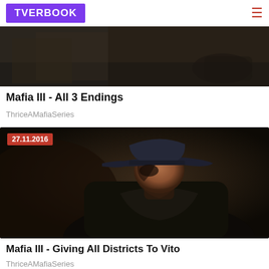TVERBOOK
[Figure (photo): Dark cinematic still image, partial view of a figure in shadow]
Mafia III - All 3 Endings
ThriceAMafiaSeries
[Figure (photo): Man in profile wearing a dark fedora hat and black coat, moody noir lighting, date badge 27.11.2016]
Mafia III - Giving All Districts To Vito
ThriceAMafiaSeries